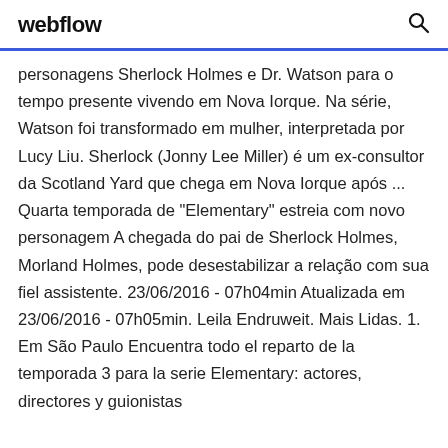webflow
personagens Sherlock Holmes e Dr. Watson para o tempo presente vivendo em Nova Iorque. Na série, Watson foi transformada por Lucy Liu. Sherlock (Jonny Lee Miller) é um ex-consultor da Scotland Yard que chega em Nova Iorque após ... Quarta temporada de "Elementary" estreia com novo personagem A chegada do pai de Sherlock Holmes, Morland Holmes, pode desestabilizar a relação com sua fiel assistente. 23/06/2016 - 07h04min Atualizada em 23/06/2016 - 07h05min. Leila Endruweit. Mais Lidas. 1. Em São Paulo Encuentra todo el reparto de la temporada 3 para la serie Elementary: actores, directores y guionistas